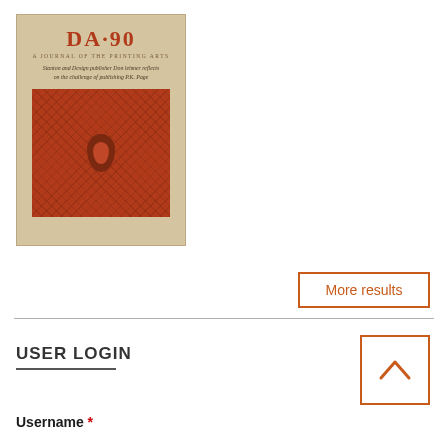[Figure (illustration): Book cover for DA·90, A Journal of the Printing Arts. Tan/kraft colored background with large red title 'DA·90' and subtitle 'A Journal of the Printing Arts'. Italic text below reads 'Stanton and Design publisher Don lehmer reflects on the challenge of publishing P.K. Page'. Below is a dark red rectangular area with a repeating diamond/cross pattern and a central medallion shape.]
More results
USER LOGIN
Username *